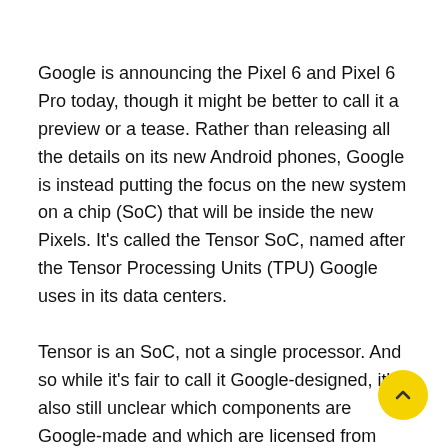Google is announcing the Pixel 6 and Pixel 6 Pro today, though it might be better to call it a preview or a tease. Rather than releasing all the details on its new Android phones, Google is instead putting the focus on the new system on a chip (SoC) that will be inside the new Pixels. It's called the Tensor SoC, named after the Tensor Processing Units (TPU) Google uses in its data centers.
Tensor is an SoC, not a single processor. And so while it's fair to call it Google-designed, it's also still unclear which components are Google-made and which are licensed from others. Two things are definitely coming from Google: a mobile TPU for AI operations and a new Titan M2 chip for security. The rest, including the CPU, GPU, and 5G modem, are all still a mystery.